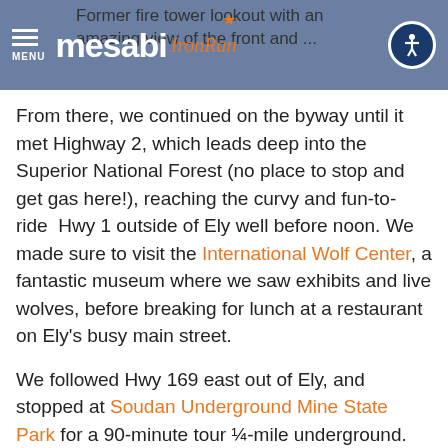Former fire tower lookout with an amazing view of the forest and Boundary Waters
From there, we continued on the byway until it met Highway 2, which leads deep into the Superior National Forest (no place to stop and get gas here!), reaching the curvy and fun-to-ride  Hwy 1 outside of Ely well before noon. We made sure to visit the International Wolf Center, a fantastic museum where we saw exhibits and live wolves, before breaking for lunch at a restaurant on Ely's busy main street.
We followed Hwy 169 east out of Ely, and stopped at Soudan Underground Mine State Park for a 90-minute tour ¼-mile underground. Jeff was fascinated by this tour, led by a wonderful guide who seemed to know everything there is to know